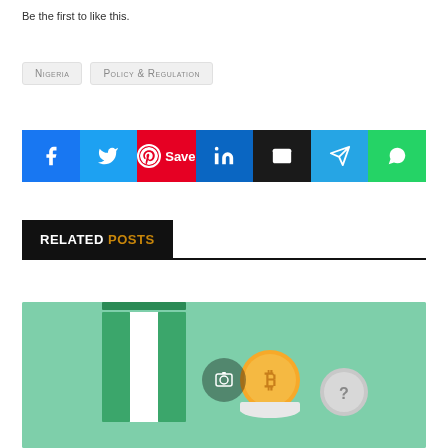Be the first to like this.
NIGERIA
POLICY & REGULATION
[Figure (infographic): Social share buttons row: Facebook (blue), Twitter (light blue), Pinterest Save (red), LinkedIn (dark blue), Email (black), Telegram (cyan), WhatsApp (green)]
RELATED POSTS
[Figure (illustration): Illustration of Nigerian flag with Bitcoin and cryptocurrency coins on a green background]